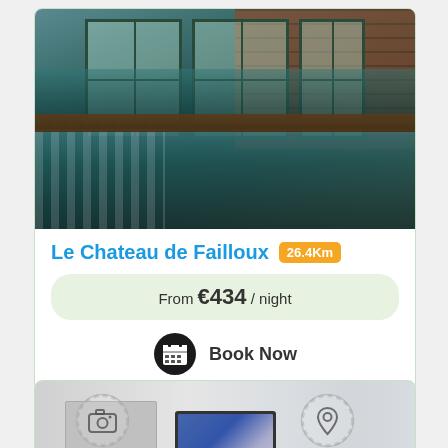[Figure (photo): Indoor swimming pool with brick walls and large windows; tiled pool with reflective water surface]
Le Chateau de Failloux 26.4Km
From €434 / night
Book Now
[Figure (photo): Interior room showing TV on wall, kitchen appliance (coffee maker), white walls and curtained window]